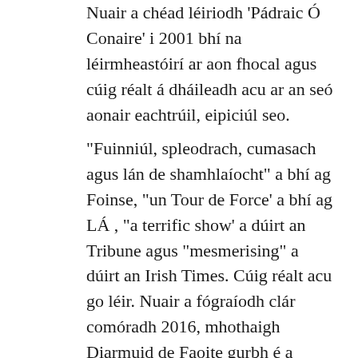Nuair a chéad léiriodh 'Pádraic Ó Conaire' i 2001 bhí na léirmheastóirí ar aon fhocal agus cúig réalt á dháileadh acu ar an seó aonair eachtrúil, eipiciúl seo.
“Fuinniúl, spleodrach, cumasach agus lán de shamhlaíocht” a bhí ag Foinse, “un Tour de Force’ a bhí ag LÁ , “a terrific show’ a dúirt an Tribune agus “mesmerising” a dúirt an Irish Times. Cúig réalt acu go léir. Nuair a fógraíodh clár comóradh 2016, mhothaigh Diarmuid de Faoite gurbh é a dhráma ‘Pádraic Ó Conaire’ , nár léiríodh le trí bhliana déag roimhe sin, an ráiteas ealaíona polaitiúla is fearr a d’fhéadfadh sé a dhéanamh in ómós do laochra agus d’fhís na Cásca. Baineann an dráma ní amháin le saol agus saothar an Chonairigh ach baineann